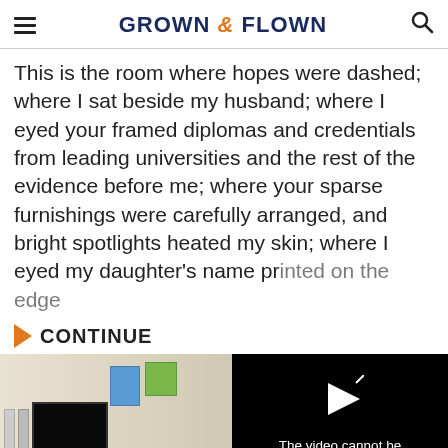GROWN & FLOWN
This is the room where hopes were dashed; where I sat beside my husband; where I eyed your framed diplomas and credentials from leading universities and the rest of the evidence before me; where your sparse furnishings were carefully arranged, and bright spotlights heated my skin; where I eyed my daughter’s name printed on the edge.
CONTINUE
[Figure (screenshot): Room photo on left side partially visible with TV, posters on wall. On right side, black video error overlay with play icon and text: The video cannot be played in this browser. (Error Code: 242632)]